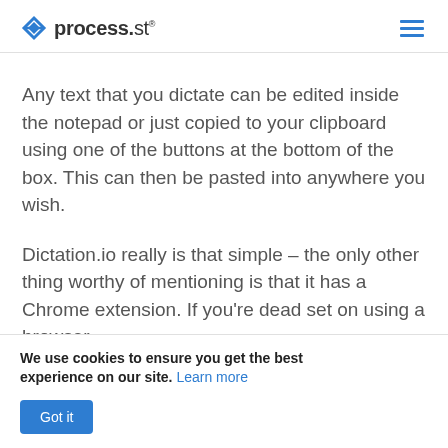process.st
Any text that you dictate can be edited inside the notepad or just copied to your clipboard using one of the buttons at the bottom of the box. This can then be pasted into anywhere you wish.
Dictation.io really is that simple – the only other thing worthy of mentioning is that it has a Chrome extension. If you're dead set on using a browser-based dictation service, then Google Chrome and
We use cookies to ensure you get the best experience on our site. Learn more
Got it